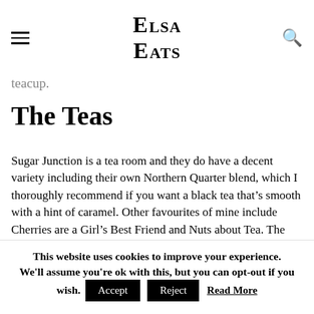Elsa Eats
teacup.
The Teas
Sugar Junction is a tea room and they do have a decent variety including their own Northern Quarter blend, which I thoroughly recommend if you want a black tea that’s smooth with a hint of caramel. Other favourites of mine include Cherries are a Girl’s Best Friend and Nuts about Tea. The former has green
This website uses cookies to improve your experience. We'll assume you're ok with this, but you can opt-out if you wish. Accept Reject Read More